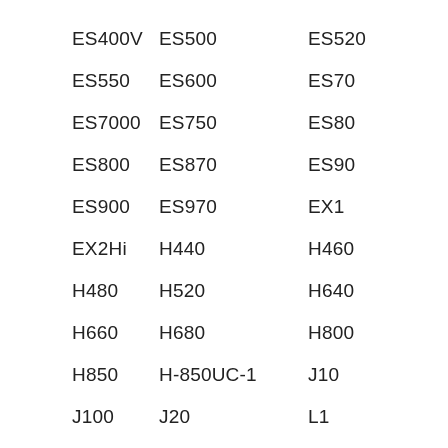ES400V
ES500
ES520
ES550
ES600
ES70
ES7000
ES750
ES80
ES800
ES870
ES90
ES900
ES970
EX1
EX2Hi
H440
H460
H480
H520
H640
H660
H680
H800
H850
H-850UC-1
J10
J100
J20
L1
L10
L2
LX1